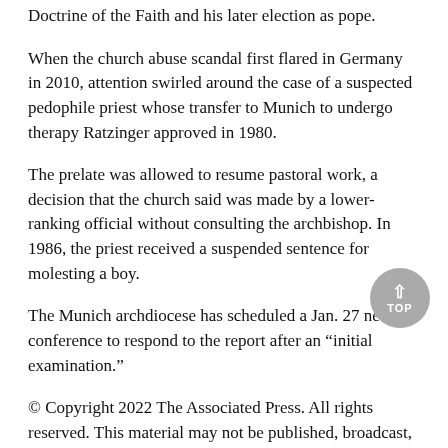Doctrine of the Faith and his later election as pope.
When the church abuse scandal first flared in Germany in 2010, attention swirled around the case of a suspected pedophile priest whose transfer to Munich to undergo therapy Ratzinger approved in 1980.
The prelate was allowed to resume pastoral work, a decision that the church said was made by a lower-ranking official without consulting the archbishop. In 1986, the priest received a suspended sentence for molesting a boy.
The Munich archdiocese has scheduled a Jan. 27 news conference to respond to the report after an “initial examination.”
© Copyright 2022 The Associated Press. All rights reserved. This material may not be published, broadcast, rewritten or redistributed.
Special Links: